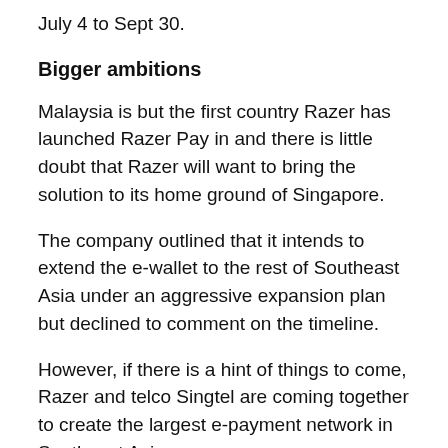July 4 to Sept 30.
Bigger ambitions
Malaysia is but the first country Razer has launched Razer Pay in and there is little doubt that Razer will want to bring the solution to its home ground of Singapore.
The company outlined that it intends to extend the e-wallet to the rest of Southeast Asia under an aggressive expansion plan but declined to comment on the timeline.
However, if there is a hint of things to come, Razer and telco Singtel are coming together to create the largest e-payment network in Southeast Asia.
In a report from The Straits Times, it was mentioned that the two companies plan to link their respective